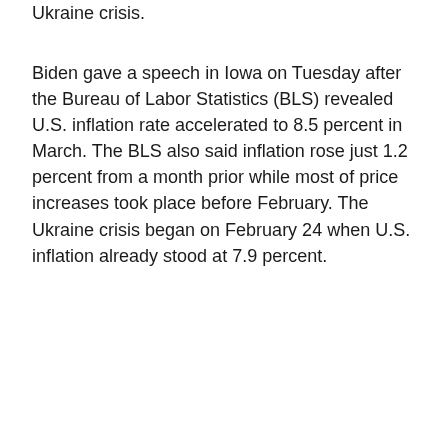Ukraine crisis.
Biden gave a speech in Iowa on Tuesday after the Bureau of Labor Statistics (BLS) revealed U.S. inflation rate accelerated to 8.5 percent in March. The BLS also said inflation rose just 1.2 percent from a month prior while most of price increases took place before February. The Ukraine crisis began on February 24 when U.S. inflation already stood at 7.9 percent.